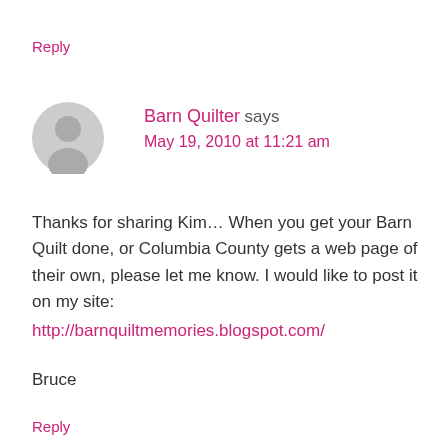Reply
Barn Quilter says
May 19, 2010 at 11:21 am
Thanks for sharing Kim… When you get your Barn Quilt done, or Columbia County gets a web page of their own, please let me know. I would like to post it on my site:
http://barnquiltmemories.blogspot.com/
Bruce
Reply